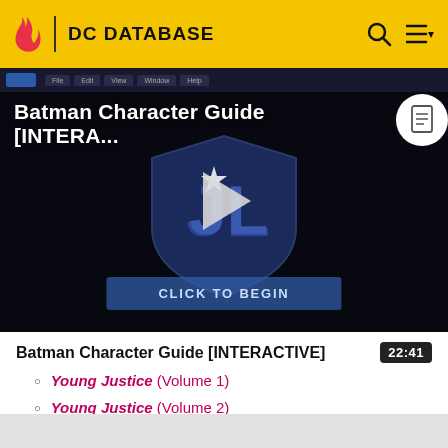DC DATABASE
[Figure (screenshot): Batman Character Guide [INTERA...] video thumbnail with play button and 'CLICK TO BEGIN' button overlay, showing a Justice League shield logo on dark background]
Batman Character Guide [INTERACTIVE]
22:41
Young Justice (Volume 1)
Young Justice (Volume 2)